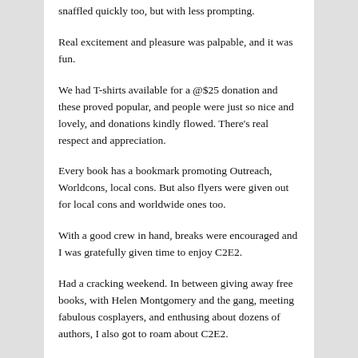snaffled quickly too, but with less prompting.
Real excitement and pleasure was palpable, and it was fun.
We had T-shirts available for a @$25 donation and these proved popular, and people were just so nice and lovely, and donations kindly flowed. There's real respect and appreciation.
Every book has a bookmark promoting Outreach, Worldcons, local cons. But also flyers were given out for local cons and worldwide ones too.
With a good crew in hand, breaks were encouraged and I was gratefully given time to enjoy C2E2.
Had a cracking weekend. In between giving away free books, with Helen Montgomery and the gang, meeting fabulous cosplayers, and enthusing about dozens of authors, I also got to roam about C2E2.